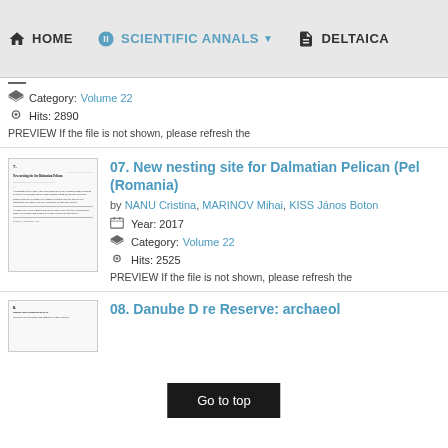HOME  SCIENTIFIC ANNALS  DELTAICA
Category: Volume 22
Hits: 2890
PREVIEW If the file is not shown, please refresh the
07. New nesting site for Dalmatian Pelican (Pel (Romania)
by NANU Cristina, MARINOV Mihai, KISS János Boton
Year: 2017
Category: Volume 22
Hits: 2525
PREVIEW If the file is not shown, please refresh the
08. Danube D re Reserve: archaeol